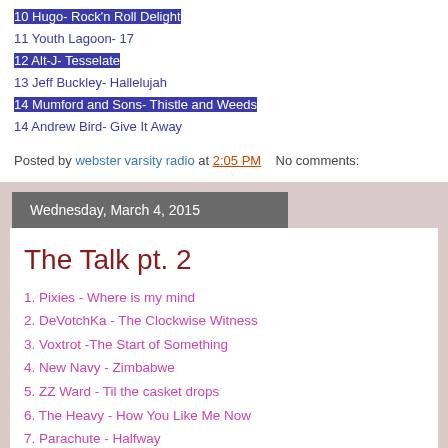10 Hugo- Rock'n Roll Delight
11 Youth Lagoon- 17
12 Alt-J- Tesselate
13 Jeff Buckley- Hallelujah
14 Mumford and Sons- Thistle and Weeds
14 Andrew Bird- Give It Away
Posted by webster varsity radio at 2:05 PM   No comments:
Wednesday, March 4, 2015
The Talk pt. 2
1. Pixies - Where is my mind
2. DeVotchKa - The Clockwise Witness
3. Voxtrot -The Start of Something
4. New Navy - Zimbabwe
5. ZZ Ward - Til the casket drops
6. The Heavy - How You Like Me Now
7. Parachute - Halfway
8. The Cab - Angel with a shotgun